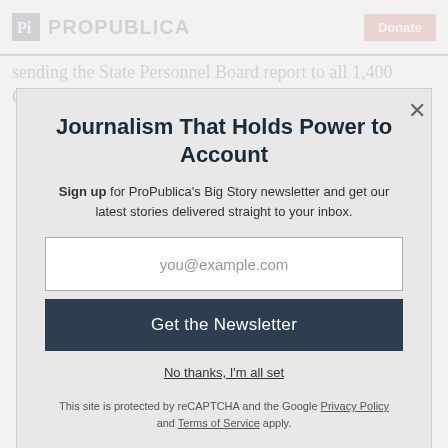ProPublica | Donate
sending the State Personnel Board report to all 1,400 CPUC employees.
Journalism That Holds Power to Account
Sign up for ProPublica's Big Story newsletter and get our latest stories delivered straight to your inbox.
you@example.com
Get the Newsletter
No thanks, I'm all set
This site is protected by reCAPTCHA and the Google Privacy Policy and Terms of Service apply.